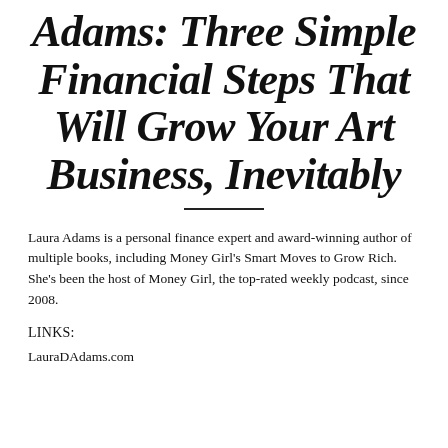Adams: Three Simple Financial Steps That Will Grow Your Art Business, Inevitably
Laura Adams is a personal finance expert and award-winning author of multiple books, including Money Girl's Smart Moves to Grow Rich. She's been the host of Money Girl, the top-rated weekly podcast, since 2008.
LINKS:
LauraDAdams.com